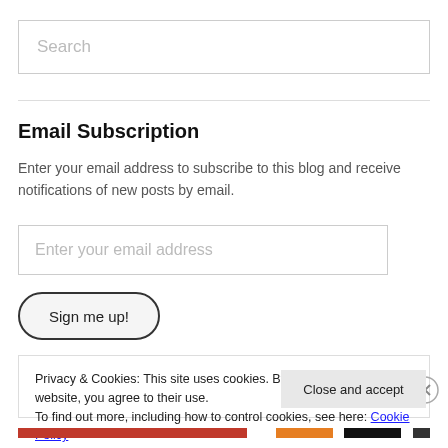Search
Email Subscription
Enter your email address to subscribe to this blog and receive notifications of new posts by email.
Enter your email address
Sign me up!
Privacy & Cookies: This site uses cookies. By continuing to use this website, you agree to their use. To find out more, including how to control cookies, see here: Cookie Policy
Close and accept